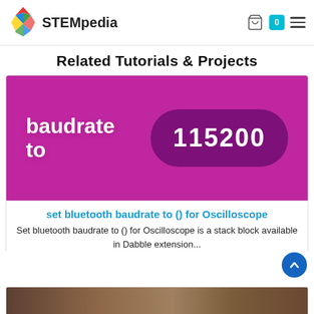STEMpedia
Related Tutorials & Projects
[Figure (screenshot): Purple background image showing text 'baudrate to 115200' with the number in a dark rounded pill shape]
set bluetooth baudrate to () for Oscilloscope
Set bluetooth baudrate to () for Oscilloscope is a stack block available in Dabble extension...
[Figure (photo): Partial image at the bottom of the page showing a wooden surface with electronics]